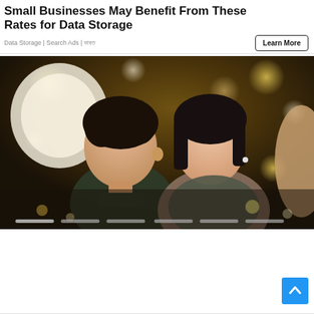Small Businesses May Benefit From These Rates for Data Storage
Data Storage | Search Ads | ভারত
[Figure (photo): A couple taking a selfie at a nighttime outdoor event, man with dark curly hair and woman smiling, bokeh lights in background. Slide indicator dots at bottom.]
[Figure (other): Blue scroll-to-top button with upward arrow chevron, bottom right corner]